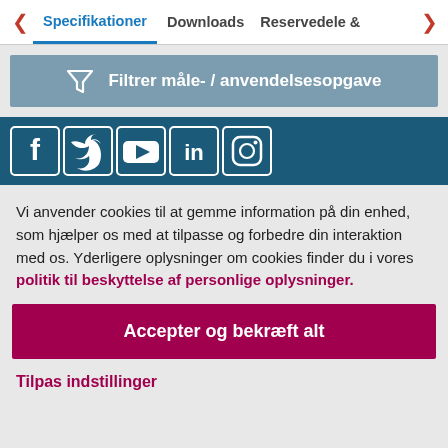< Specifikationer   Downloads   Reservedele & >
[Figure (infographic): Grey filter button with funnel icon and text 'Filtrer måle- / anvendelsesopgave']
[Figure (infographic): Social media icons bar (Facebook, Twitter, YouTube, LinkedIn, Instagram) on dark teal background]
Vi anvender cookies til at gemme information på din enhed, som hjælper os med at tilpasse og forbedre din interaktion med os. Yderligere oplysninger om cookies finder du i vores politik til beskyttelse af personlige oplysninger.
Accepter og bekræft alt
Tilpas indstillinger